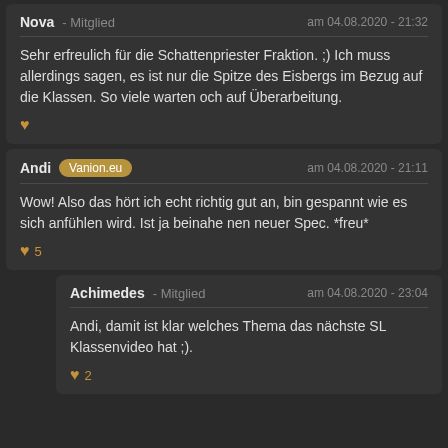Nova - Mitglied   am 04.08.2020 - 21:32
Sehr erfreulich für die Schattenpriester Fraktion. ;) Ich muss allerdings sagen, es ist nur die Spitze des Eisbergs im Bezug auf die Klassen. So viele warten och auf Überarbeitung.
Andi Vanion.eu   am 04.08.2020 - 21:11
Wow! Also das hört ich echt richtig gut an, bin gespannt wie es sich anfühlen wird. Ist ja beinahe nen neuer Spec. *freu*
5
Achimedes - Mitglied   am 04.08.2020 - 23:04
Andi, damit ist klar welches Thema das nächste SL Klassenvideo hat ;).
2